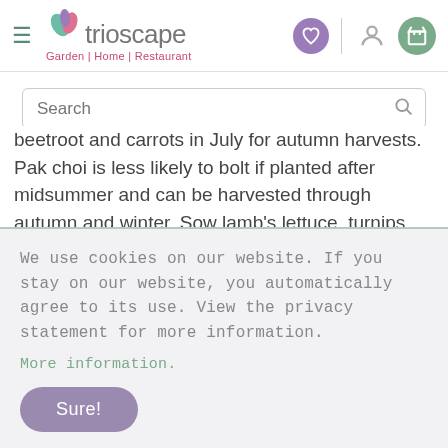[Figure (logo): Trioscape logo with leaf icon and tagline Garden | Home | Restaurant, plus navigation icons (hamburger menu, heart, profile, basket)]
Search
beetroot and carrots in July for autumn harvests. Pak choi is less likely to bolt if planted after midsummer and can be harvested through autumn and winter. Sow lamb's lettuce, turnips and perpetual spinach for winter harvests, and chard, spring onions and spring cabbage for harvesting
We use cookies on our website. If you stay on our website, you automatically agree to its use. View the privacy statement for more information.
More information.
Sure!